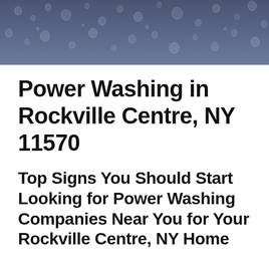[Figure (photo): Dark blue/grey background with water droplets on glass surface, used as a decorative header image for a power washing service page]
Power Washing in Rockville Centre, NY 11570
Top Signs You Should Start Looking for Power Washing Companies Near You for Your Rockville Centre, NY Home